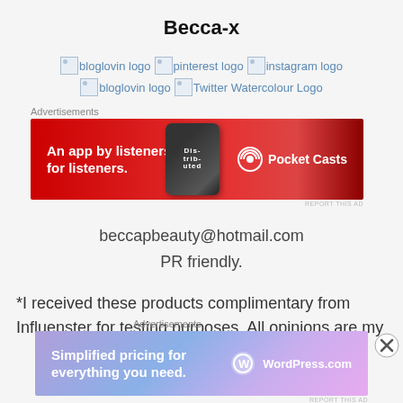Becca-x
[Figure (logo): Row of broken image placeholders for bloglovin logo, pinterest logo, instagram logo, bloglovin logo, Twitter Watercolour Logo]
[Figure (infographic): Pocket Casts advertisement banner: 'An app by listeners, for listeners.' with phone device graphic and Pocket Casts logo on red background]
REPORT THIS AD
beccapbeauty@hotmail.com
PR friendly.
*I received these products complimentary from Influenster for testing purposes. All opinions are my
[Figure (infographic): WordPress.com advertisement banner: 'Simplified pricing for everything you need.' with WordPress logo on purple/blue gradient background]